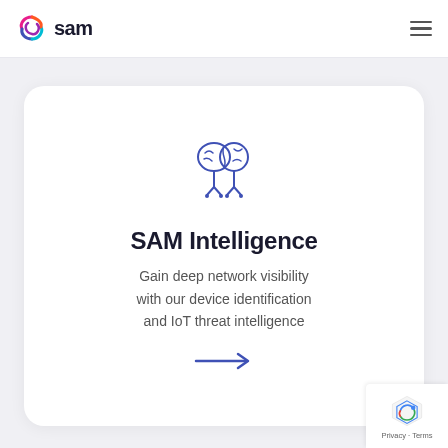[Figure (logo): SAM logo with colorful swirl icon and bold 'sam' text]
[Figure (illustration): Blue outline brain/AI icon with circuit-like legs, representing AI intelligence]
SAM Intelligence
Gain deep network visibility with our device identification and IoT threat intelligence
[Figure (illustration): Blue right-pointing arrow]
[Figure (illustration): Google reCAPTCHA badge showing recaptcha logo, Privacy and Terms text]